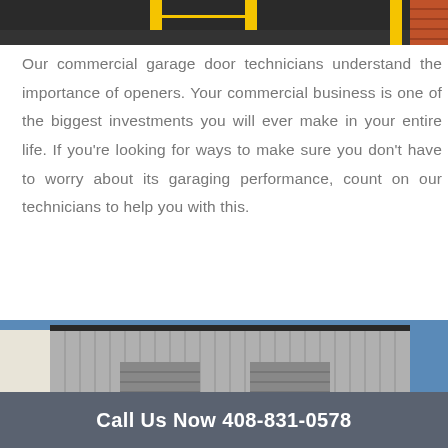[Figure (photo): Top portion of a commercial garage area with yellow bollards and dark pavement]
Our commercial garage door technicians understand the importance of openers. Your commercial business is one of the biggest investments you will ever make in your entire life. If you're looking for ways to make sure you don't have to worry about its garaging performance, count on our technicians to help you with this.
[Figure (photo): Commercial metal warehouse building with large garage doors and blue sky, with a 'Top' button overlay]
Call Us Now 408-831-0578